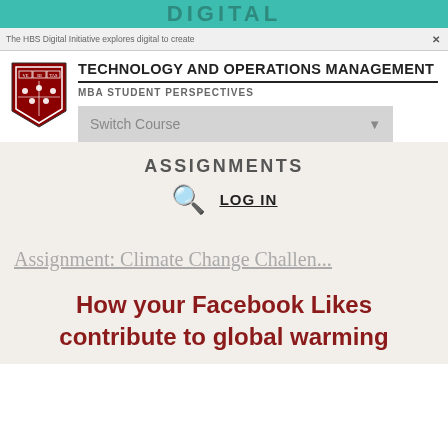DIGITAL
The HBS Digital Initiative explores digital to create...
TECHNOLOGY AND OPERATIONS MANAGEMENT
MBA STUDENT PERSPECTIVES
Switch Course
ASSIGNMENTS
LOG IN
Assignment: Climate Change Challen...
How your Facebook Likes contribute to global warming